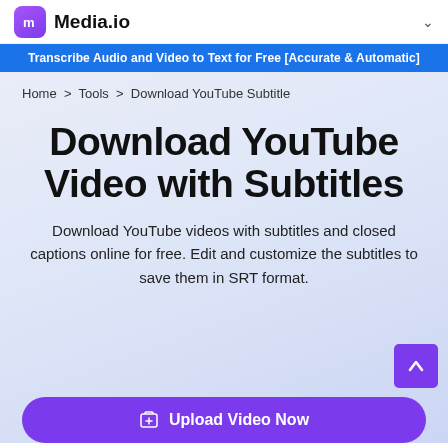Media.io
Transcribe Audio and Video to Text for Free [Accurate & Automatic]
Home > Tools > Download YouTube Subtitle
Download YouTube Video with Subtitles
Download YouTube videos with subtitles and closed captions online for free. Edit and customize the subtitles to save them in SRT format.
Upload Video Now